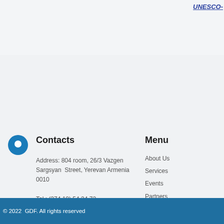UNESCO-
Contacts
Address: 804 room, 26/3 Vazgen Sargsyan Street, Yerevan Armenia 0010

Tel.: (374 10) 54 34 72

Fax: (374 10) 54 34 72

E-mail: info@gdf.am

Skype: global.developments.fund
Menu
About Us
Services
Events
Partners
Gallery
Videos
Contacts
Projects
© 2022  GDF. All rights reserved